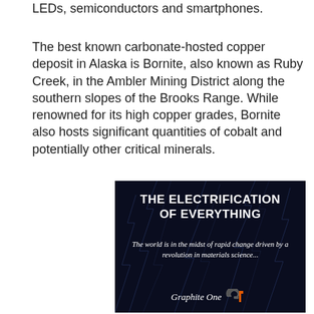LEDs, semiconductors and smartphones.
The best known carbonate-hosted copper deposit in Alaska is Bornite, also known as Ruby Creek, in the Ambler Mining District along the southern slopes of the Brooks Range. While renowned for its high copper grades, Bornite also hosts significant quantities of cobalt and potentially other critical minerals.
[Figure (illustration): Dark advertisement image with lightning bolt background. Title reads 'The Electrification of Everything' in bold white all-caps text. Subtitle reads 'The world is in the midst of rapid change driven by a revolution in materials science...' in italic white text. Bottom shows 'Graphite One' brand name and logo in white and orange.]